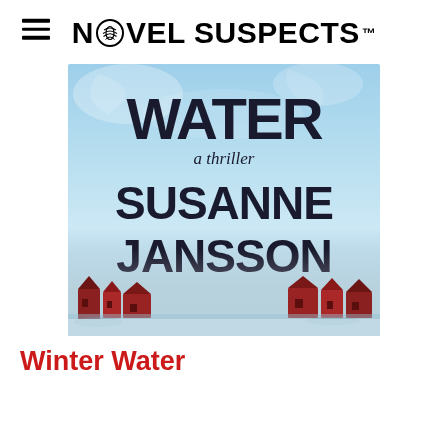NOVEL SUSPECTS™
[Figure (photo): Book cover for 'Winter Water' by Susanne Jansson — a thriller. Shows the word WATER in large bold letters at the top, 'a thriller' in italic below, then SUSANNE JANSSON in large bold letters. Background is icy blue/white texture. Bottom third shows red Swedish-style buildings (Dalarna/Scandinavian cottages) reflected in misty winter water.]
Winter Water